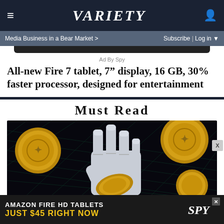VARIETY
Media Business in a Bear Market >
Subscribe | Log in
Ad By Spy
All-new Fire 7 tablet, 7" display, 16 GB, 30% faster processor, designed for entertainment
Must Read
[Figure (photo): Robot hand holding gold cryptocurrency coins on dark grid background]
AMAZON FIRE HD TABLETS JUST $45 RIGHT NOW